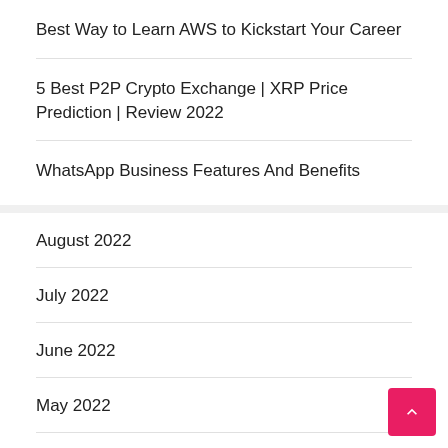Best Way to Learn AWS to Kickstart Your Career
5 Best P2P Crypto Exchange | XRP Price Prediction | Review 2022
WhatsApp Business Features And Benefits
August 2022
July 2022
June 2022
May 2022
April 2022